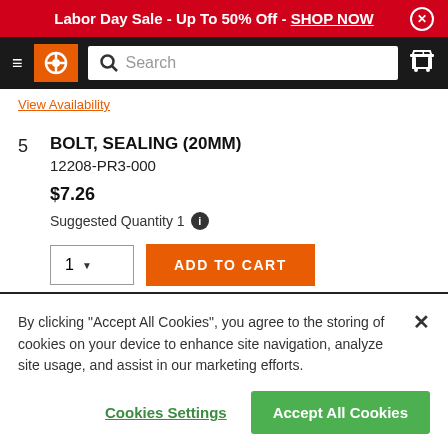Labor Day Sale - Up To 50% Off - SHOP NOW
[Figure (screenshot): Navigation bar with hamburger menu, Advance Auto Parts logo, search bar, and cart icon]
View Availability
5  BOLT, SEALING (20MM)
12208-PR3-000
$7.26
Suggested Quantity 1
ADD TO CART
By clicking “Accept All Cookies”, you agree to the storing of cookies on your device to enhance site navigation, analyze site usage, and assist in our marketing efforts.
Cookies Settings
Accept All Cookies